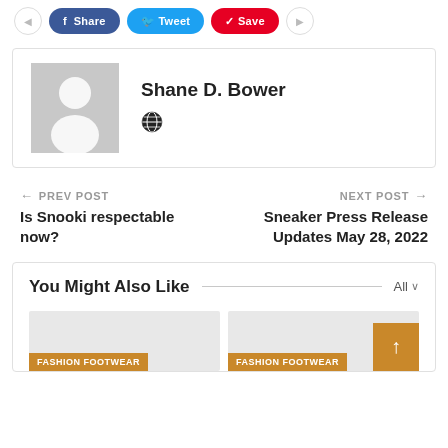[Figure (other): Social share buttons row: outline circle, Facebook (blue), Twitter (light blue), Pinterest (red), and another outline circle button]
[Figure (other): Author card with grey placeholder avatar image and name Shane D. Bower with a globe icon below]
Shane D. Bower
← PREV POST
Is Snooki respectable now?
NEXT POST →
Sneaker Press Release Updates May 28, 2022
You Might Also Like
[Figure (other): Two image cards with FASHION FOOTWEAR tags and a scroll-to-top orange arrow button]